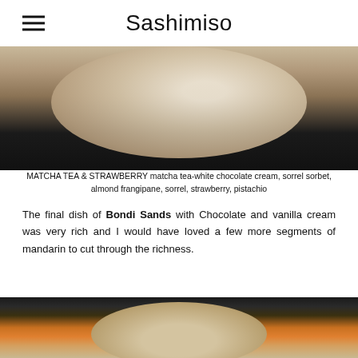Sashimiso
[Figure (photo): Top portion of a food dish on a dark plate, showing a white/cream colored circular element, partially cropped at top]
MATCHA TEA & STRAWBERRY matcha tea-white chocolate cream, sorrel sorbet, almond frangipane, sorrel, strawberry, pistachio
The final dish of Bondi Sands with Chocolate and vanilla cream was very rich and I would have loved a few more segments of mandarin to cut through the richness.
[Figure (photo): Food dish in a bowl with orange/brown crumbled topping, on a dark background, partially cropped at bottom]